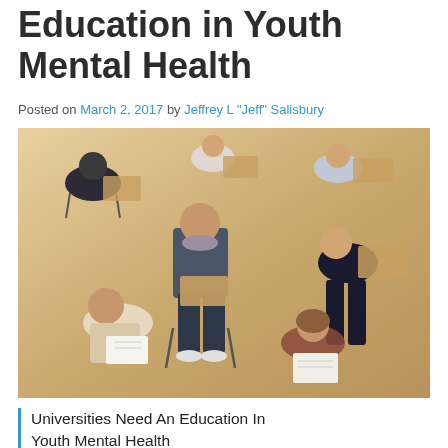Education in Youth Mental Health
Posted on March 2, 2017 by Jeffrey L "Jeff" Salisbury
[Figure (photo): Aerial view of university students sitting in individual chairs with writing tablets, taking a test or exam in a large open room with a wooden floor]
Universities Need An Education In Youth Mental Health
by thecatalystsforchange